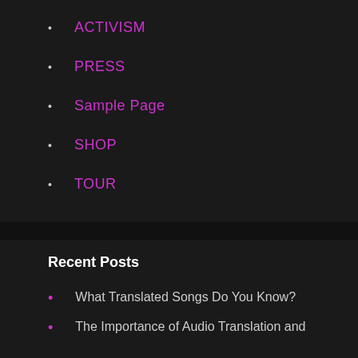ACTIVISM
PRESS
Sample Page
SHOP
TOUR
Recent Posts
What Translated Songs Do You Know?
The Importance of Audio Translation and